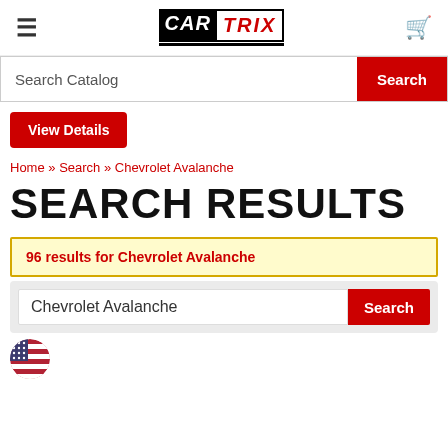CAR TRIX
Search Catalog | Search
View Details
Home » Search » Chevrolet Avalanche
SEARCH RESULTS
96 results for Chevrolet Avalanche
Chevrolet Avalanche | Search